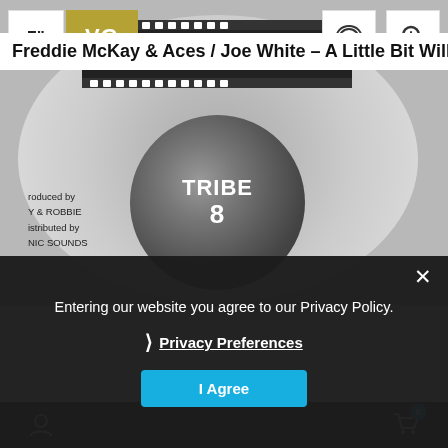Freddie McKay & Aces / Joe White – A Little Bit Will Do / A...
[Figure (photo): Photo of a vinyl 7-inch record with TAXI label on top and TRIBE 8 center label. Text visible on record: produced by, Y & ROBBIE, istributed by, NIC SOUNDS]
Entering our website you agree to our Privacy Policy.
› Privacy Preferences
I Agree